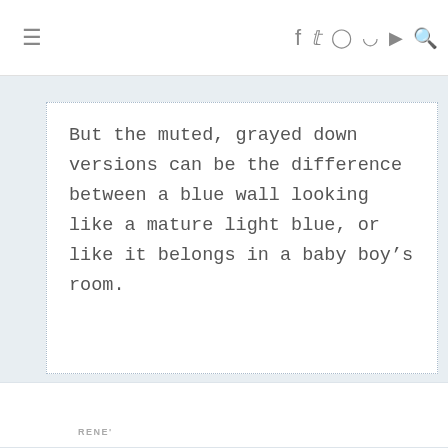≡  f  t  instagram  pinterest  youtube  search
But the muted, grayed down versions can be the difference between a blue wall looking like a mature light blue, or like it belongs in a baby boy's room.